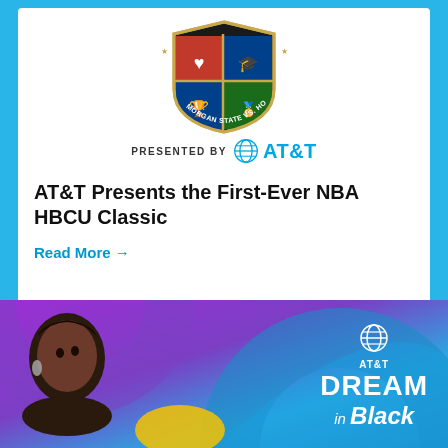[Figure (logo): Morgan State vs. Howard University 2022 HBCU Classic shield/crest logo]
PRESENTED BY AT&T
AT&T Presents the First-Ever NBA HBCU Classic
Read More →
[Figure (illustration): AT&T Dream in Black banner with a woman looking upward, colorful abstract shapes in purple, blue, and yellow]